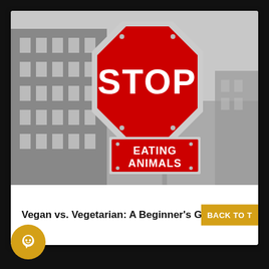[Figure (photo): Black and white photograph of a red stop sign with a supplementary sign reading 'EATING ANIMALS' attached below it, set against a blurred urban building background.]
Vegan vs. Vegetarian: A Beginner's Guide
[Figure (other): Gold/yellow circular chat bubble icon button in bottom left corner.]